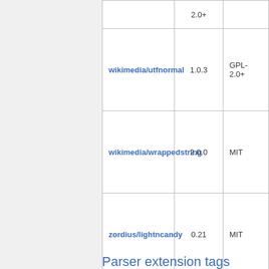| Package | Version | License |
| --- | --- | --- |
|  | 2.0+ |  |
| wikimedia/utfnormal | 1.0.3 | GPL-2.0+ |
| wikimedia/wrappedstring | 2.0.0 | MIT |
| zordius/lightncandy | 0.21 | MIT |
Parser extension tags